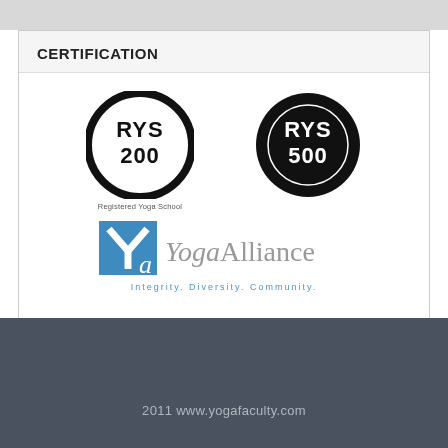CERTIFICATION
[Figure (logo): RYS 200 Registered Yoga School circular badge logo (black circle with RYS 200 text inside)]
[Figure (logo): RYS 500 circular badge logo (black filled circle with RYS 500 text inside)]
[Figure (logo): Yoga Alliance logo with Ya mark in blue and text 'YogaAlliance' with tagline 'Integrity. Diversity. Community.']
2011 www.yogafaculty.com